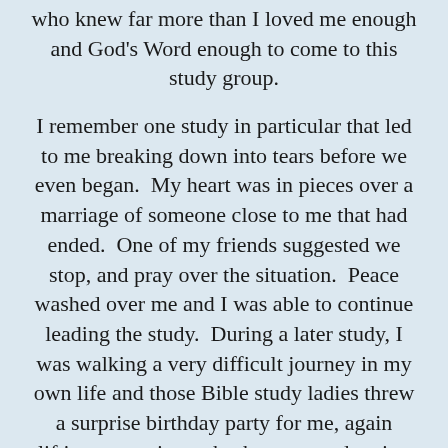who knew far more than I loved me enough and God's Word enough to come to this study group.
I remember one study in particular that led to me breaking down into tears before we even began.  My heart was in pieces over a marriage of someone close to me that had ended.  One of my friends suggested we stop, and pray over the situation.  Peace washed over me and I was able to continue leading the study.  During a later study, I was walking a very difficult journey in my own life and those Bible study ladies threw a surprise birthday party for me, again lifting me up in my brokenness and caring for my soul.
One of the last studies I led at that church of 15